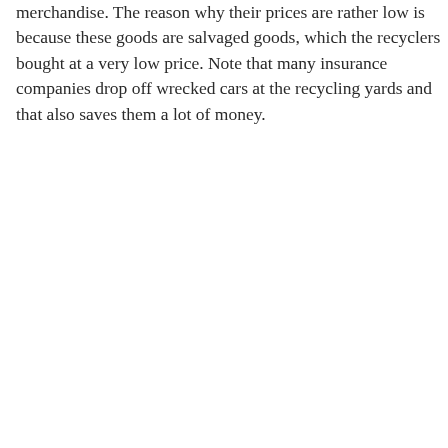merchandise. The reason why their prices are rather low is because these goods are salvaged goods, which the recyclers bought at a very low price. Note that many insurance companies drop off wrecked cars at the recycling yards and that also saves them a lot of money.